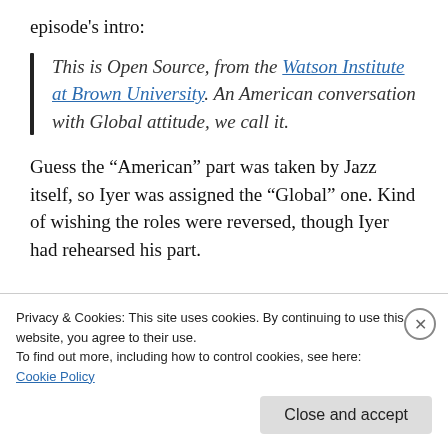episode's intro:
This is Open Source, from the Watson Institute at Brown University. An American conversation with Global attitude, we call it.
Guess the “American” part was taken by Jazz itself, so Iyer was assigned the “Global” one. Kind of wishing the roles were reversed, though Iyer had rehearsed his part.
Privacy & Cookies: This site uses cookies. By continuing to use this website, you agree to their use.
To find out more, including how to control cookies, see here: Cookie Policy
Close and accept